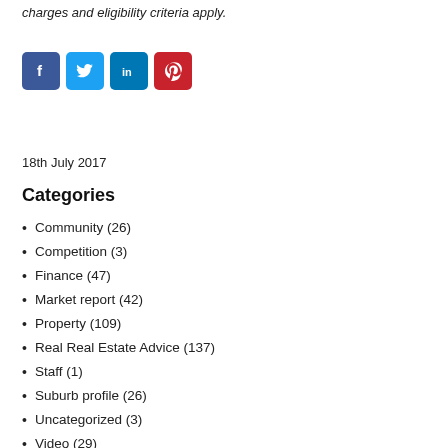charges and eligibility criteria apply.
[Figure (other): Social media share buttons: Facebook (blue), Twitter (light blue), LinkedIn (dark blue), Pinterest (red)]
18th July 2017
Categories
Community (26)
Competition (3)
Finance (47)
Market report (42)
Property (109)
Real Real Estate Advice (137)
Staff (1)
Suburb profile (26)
Uncategorized (3)
Video (29)